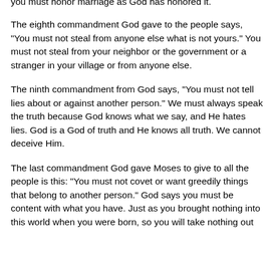you must honor marriage as God has honored it.
The eighth commandment God gave to the people says, "You must not steal from anyone else what is not yours." You must not steal from your neighbor or the government or a stranger in your village or from anyone else.
The ninth commandment from God says, "You must not tell lies about or against another person." We must always speak the truth because God knows what we say, and He hates lies. God is a God of truth and He knows all truth. We cannot deceive Him.
The last commandment God gave Moses to give to all the people is this: "You must not covet or want greedily things that belong to another person." God says you must be content with what you have. Just as you brought nothing into this world when you were born, so you will take nothing out